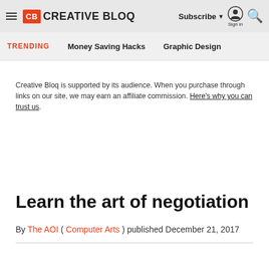Creative Bloq — Subscribe | Sign in | Search
TRENDING   Money Saving Hacks   Graphic Design
Creative Bloq is supported by its audience. When you purchase through links on our site, we may earn an affiliate commission. Here's why you can trust us.
Learn the art of negotiation
By The AOI ( Computer Arts ) published December 21, 2017